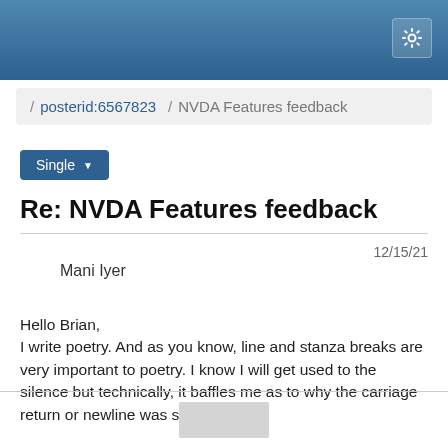/ posterid:6567823 / NVDA Features feedback
Single ▾
Re: NVDA Features feedback
12/15/21
Mani Iyer
Hello Brian,
I write poetry. And as you know, line and stanza breaks are very important to poetry.  I know I will get used to the silence but technically, it baffles me as to why the carriage return or newline was singled out.